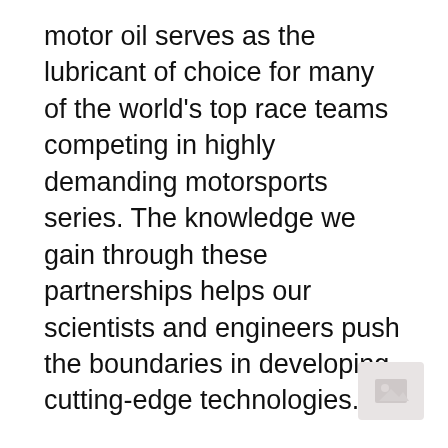motor oil serves as the lubricant of choice for many of the world's top race teams competing in highly demanding motorsports series. The knowledge we gain through these partnerships helps our scientists and engineers push the boundaries in developing cutting-edge technologies.
ExxonMobil remains proud partners with Aston Martin Red Bull Racing in Formula One, Stewart-Haas Racing in NASCAR's Sprint Cup Series; Porsche and TOYOTA GAZOO Racing in the FIA World Endurance Championship; Kalitta Motorsports in the NHRA
[Figure (other): Small thumbnail image placeholder in bottom-right corner, light gray background with faint icon]